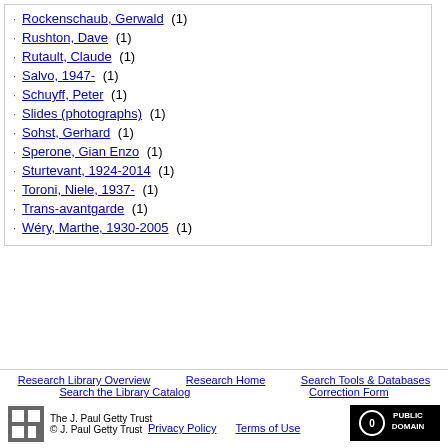Rockenschaub, Gerwald (1)
Rushton, Dave (1)
Rutault, Claude (1)
Salvo, 1947- (1)
Schuyff, Peter (1)
Slides (photographs) (1)
Sohst, Gerhard (1)
Sperone, Gian Enzo (1)
Sturtevant, 1924-2014 (1)
Toroni, Niele, 1937- (1)
Trans-avantgarde (1)
Wéry, Marthe, 1930-2005 (1)
Research Library Overview | Research Home | Search Tools & Databases | Search the Library Catalog | Correction Form
The J. Paul Getty Trust © J. Paul Getty Trust
Privacy Policy | Terms of Use